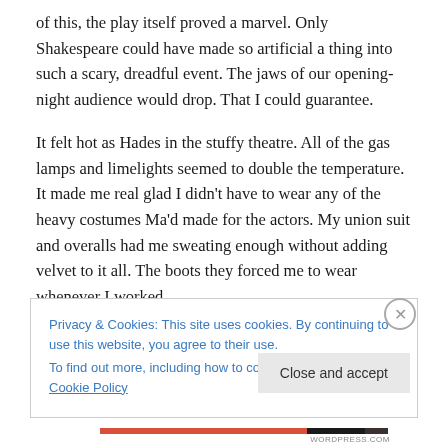of this, the play itself proved a marvel. Only Shakespeare could have made so artificial a thing into such a scary, dreadful event. The jaws of our opening-night audience would drop. That I could guarantee.
It felt hot as Hades in the stuffy theatre. All of the gas lamps and limelights seemed to double the temperature. It made me real glad I didn't have to wear any of the heavy costumes Ma'd made for the actors. My union suit and overalls had me sweating enough without adding velvet to it all. The boots they forced me to wear whenever I worked
Privacy & Cookies: This site uses cookies. By continuing to use this website, you agree to their use.
To find out more, including how to control cookies, see here: Cookie Policy